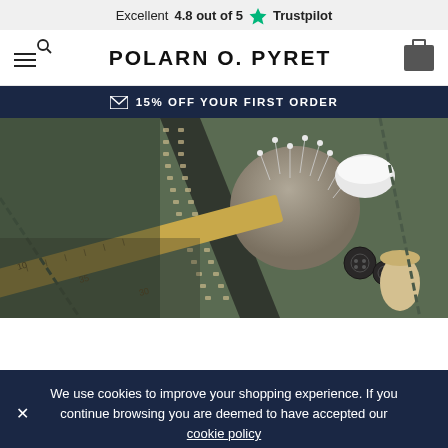Excellent 4.8 out of 5 ★ Trustpilot
POLARN O. PYRET
15% OFF YOUR FIRST ORDER
[Figure (photo): Close-up of sewing/tailoring supplies on green fabric: a pincushion with pins, buttons, a wooden ruler, and a zipper]
We use cookies to improve your shopping experience. If you continue browsing you are deemed to have accepted our cookie policy